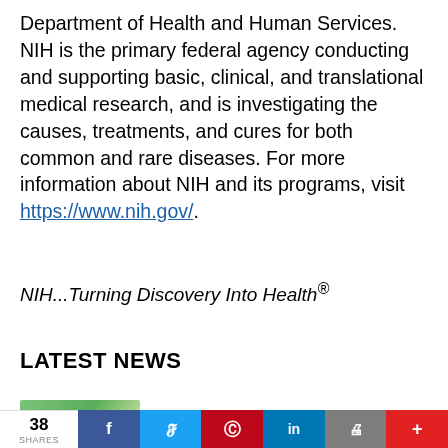Department of Health and Human Services. NIH is the primary federal agency conducting and supporting basic, clinical, and translational medical research, and is investigating the causes, treatments, and cures for both common and rare diseases. For more information about NIH and its programs, visit https://www.nih.gov/.
NIH...Turning Discovery Into Health®
LATEST NEWS
[Figure (photo): Thumbnail photo of a child outdoors in a green environment]
Exposure to green space may boost
38 SHARES — social share bar with Facebook, Twitter, Pinterest, LinkedIn, Print, and plus buttons